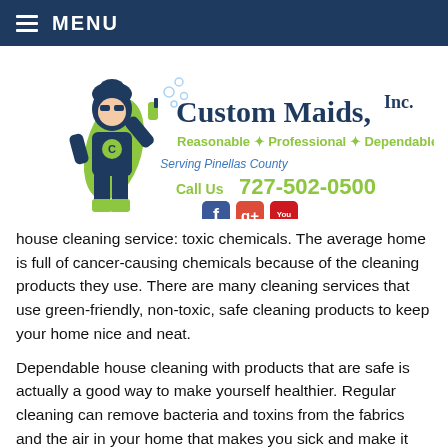MENU
[Figure (logo): Custom Maids, Inc. logo featuring a superhero maid character in navy and lime green, with text: Custom Maids, Inc. / Reasonable * Professional * Dependable / Serving Pinellas County / Call Us 727-502-0500, and social media icons for Facebook, Google+, and YouTube]
house cleaning service: toxic chemicals. The average home is full of cancer-causing chemicals because of the cleaning products they use. There are many cleaning services that use green-friendly, non-toxic, safe cleaning products to keep your home nice and neat.
Dependable house cleaning with products that are safe is actually a good way to make yourself healthier. Regular cleaning can remove bacteria and toxins from the fabrics and the air in your home that makes you sick and make it easier for germs to spread.